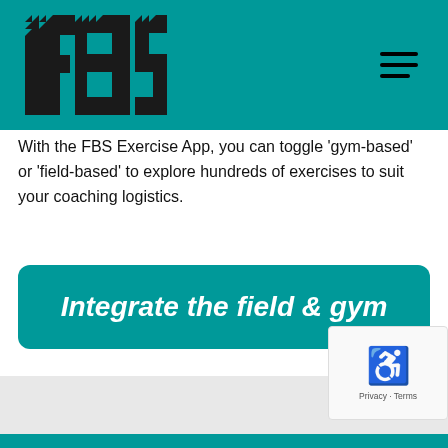[Figure (logo): FBS logo in black triangular fractal pattern letters on teal background, with hamburger menu icon top right]
With the FBS Exercise App, you can toggle 'gym-based' or 'field-based' to explore hundreds of exercises to suit your coaching logistics.
Integrate the field & gym